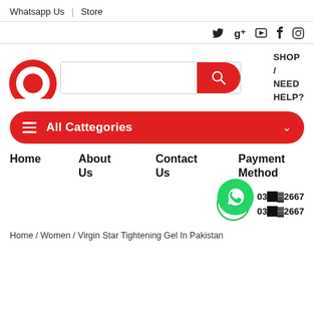Whatsapp Us | Store
[Figure (screenshot): Social media icons: Twitter, Google+, YouTube, Facebook, Instagram]
[Figure (logo): Red circular logo (partial)]
[Figure (screenshot): Search bar with red search button and SHOP / NEED HELP? text]
All Cattegories
Home
About Us
Contact Us
Payment Method
030▓▓2667
030▓▓2667
Home / Women / Virgin Star Tightening Gel In Pakistan